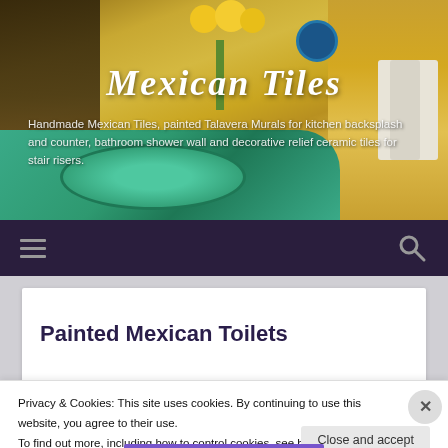[Figure (photo): Hero banner showing a colorful Mexican bathroom with teal/turquoise countertop, yellow walls, yellow flower arrangement, white towels, and decorative elements]
Mexican Tiles
Handmade Mexican Tiles, painted Talavera Murals for kitchen backsplash and counter, bathroom shower wall and decorative relief ceramic tiles for stair risers.
[Figure (screenshot): Navigation bar with hamburger menu icon on left and search icon on right, dark purple background]
Painted Mexican Toilets
Privacy & Cookies: This site uses cookies. By continuing to use this website, you agree to their use.
To find out more, including how to control cookies, see here: Cookie Policy